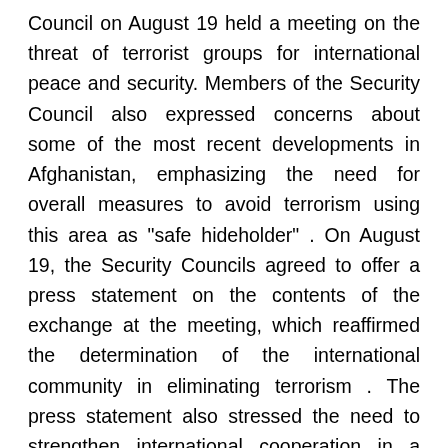Council on August 19 held a meeting on the threat of terrorist groups for international peace and security. Members of the Security Council also expressed concerns about some of the most recent developments in Afghanistan, emphasizing the need for overall measures to avoid terrorism using this area as "safe hideholder" . On August 19, the Security Councils agreed to offer a press statement on the contents of the exchange at the meeting, which reaffirmed the determination of the international community in eliminating terrorism . The press statement also stressed the need to strengthen international cooperation in a comprehensive terrorist to maintain peace, stability and development. War against terrorism and extremism Is the long and complex war of the whole world. In the past 20 years, the risk of global terrorism continues to grow,